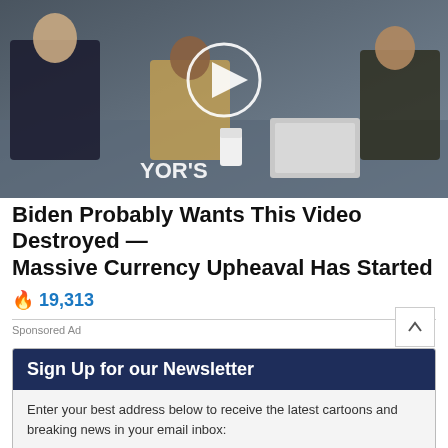[Figure (screenshot): Video thumbnail showing news broadcast with three people seated at a desk, with a play button overlay in the center. Text 'YOR'S' visible in lower portion of image.]
Biden Probably Wants This Video Destroyed — Massive Currency Upheaval Has Started
🔥 19,313
Sponsored Ad
Sign Up for our Newsletter
Enter your best address below to receive the latest cartoons and breaking news in your email inbox:
Your email address
GO»